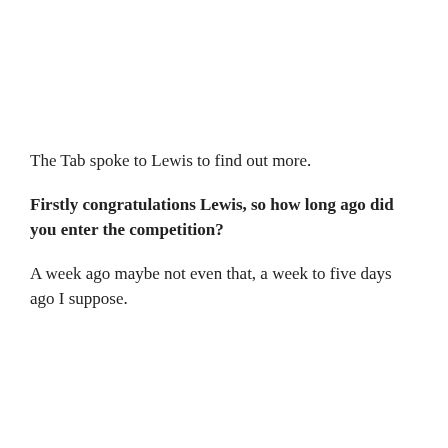The Tab spoke to Lewis to find out more.
Firstly congratulations Lewis, so how long ago did you enter the competition?
A week ago maybe not even that, a week to five days ago I suppose.